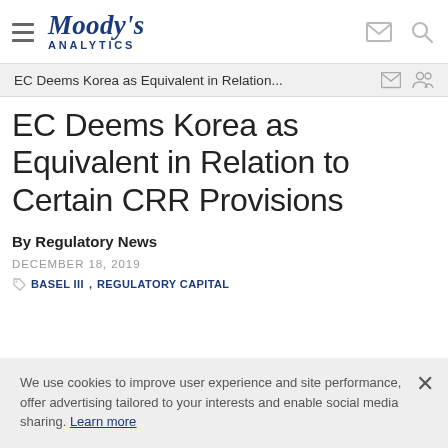Moody's Analytics
EC Deems Korea as Equivalent in Relation...
EC Deems Korea as Equivalent in Relation to Certain CRR Provisions
By Regulatory News
DECEMBER 18, 2019
BASEL III, REGULATORY CAPITAL
We use cookies to improve user experience and site performance, offer advertising tailored to your interests and enable social media sharing. Learn more